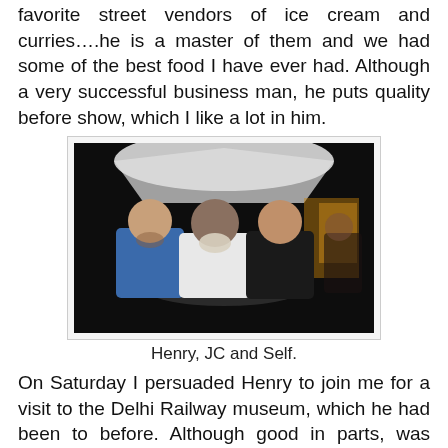favorite street vendors of ice cream and curries….he is a master of them and we had some of the best food I have ever had. Although a very successful business man, he puts quality before show, which I like a lot in him.
[Figure (photo): Three men sitting outdoors at night under a large umbrella at a table. The man on the left wears a blue shirt, the man in the middle wears a white shirt and has a white beard, and the man on the right wears a black t-shirt.]
Henry, JC and Self.
On Saturday I persuaded Henry to join me for a visit to the Delhi Railway museum, which he had been to before. Although good in parts, was rather run down and lots of the lovely old engines and carriages were on a slow rot.
[Figure (photo): Interior of a building, possibly a railway museum, with bright light coming through windows and silhouettes of large machinery or carriages visible.]